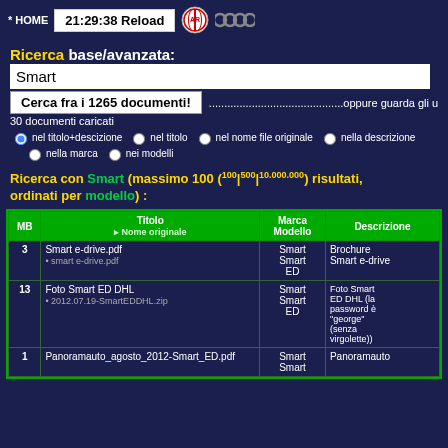* HOME  21:29:38 Reload
Ricerca base/avanzata:
Smart
Cerca fra i 1265 documenti!  ............................................oppure guarda gli ultimi 30 documenti caricati
nel titolo+descizione
nel titolo
nel nome file originale
nella descrizione
nella marca
nei modelli
Ricerca con Smart (massimo 100 (100|500|10.000.000) risultati, ordinati per modello) :
| MB | Titolo
▸ Nome originale | Marca
Modello | Descrizione |
| --- | --- | --- | --- |
| 3 | Smart e-drive.pdf
• smart e-drive.pdf | Smart
Smart
ED | Brochure
Smart e-drive |
| 13 | Foto Smart ED DHL
• 2012.07.19-SmartEDDHL.zip | Smart
Smart
ED | Foto Smart
ED DHL (la
password è
"george"
(senza
virgolette)) |
| 1 | Panoramauto_agosto_2012-Smart_ED.pdf | Smart
Smart | Panoramauto |